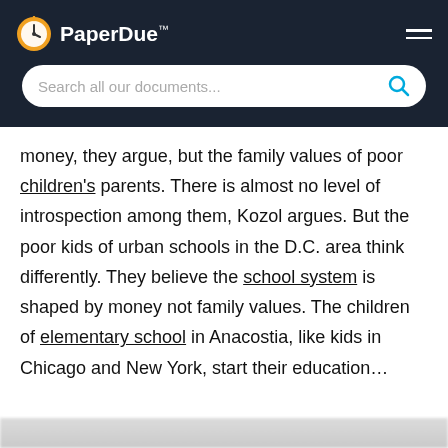PaperDue™
money, they argue, but the family values of poor children's parents. There is almost no level of introspection among them, Kozol argues. But the poor kids of urban schools in the D.C. area think differently. They believe the school system is shaped by money not family values. The children of elementary school in Anacostia, like kids in Chicago and New York, start their education...